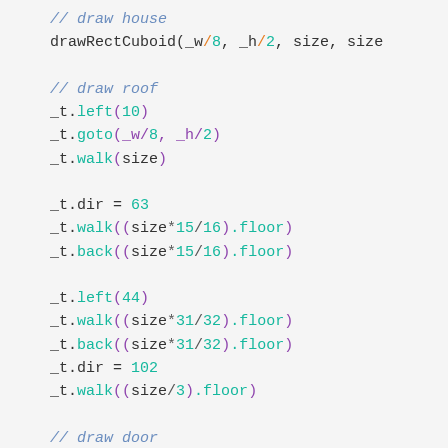// draw house
drawRectCuboid(_w/8, _h/2, size, size
// draw roof
_t.left(10)
_t.goto(_w/8, _h/2)
_t.walk(size)
_t.dir = 63
_t.walk((size*15/16).floor)
_t.back((size*15/16).floor)
_t.left(44)
_t.walk((size*31/32).floor)
_t.back((size*31/32).floor)
_t.dir = 102
_t.walk((size/3).floor)
// draw door
var doorWidth  = (size/4).floor
var doorHeight = (size/2.5).floor
_t.drawRect(_w/4 + doorWidth/2, _h/2
// draw window